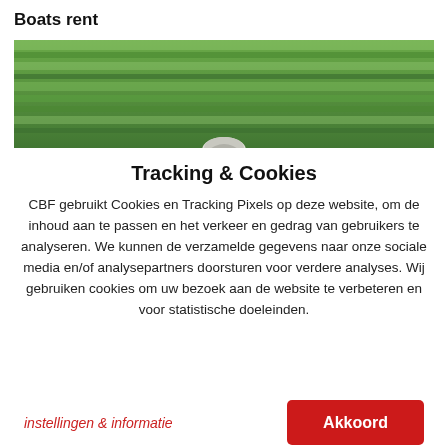Boats rent
[Figure (photo): Blurred green forest background with a cyclist wearing a white helmet visible at bottom center]
Tracking & Cookies
CBF gebruikt Cookies en Tracking Pixels op deze website, om de inhoud aan te passen en het verkeer en gedrag van gebruikers te analyseren. We kunnen de verzamelde gegevens naar onze sociale media en/of analysepartners doorsturen voor verdere analyses. Wij gebruiken cookies om uw bezoek aan de website te verbeteren en voor statistische doeleinden.
instellingen & informatie
Akkoord